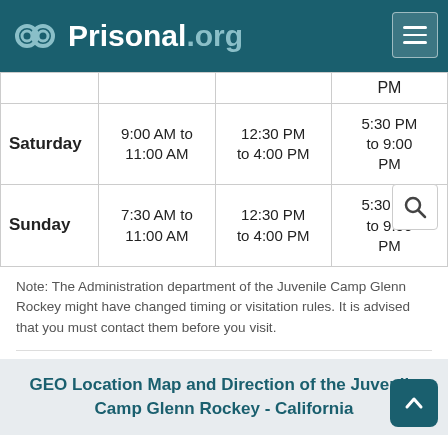Prisonal.org
| Day | Session 1 | Session 2 | Session 3 |
| --- | --- | --- | --- |
|  |  |  | PM |
| Saturday | 9:00 AM to 11:00 AM | 12:30 PM to 4:00 PM | 5:30 PM to 9:00 PM |
| Sunday | 7:30 AM to 11:00 AM | 12:30 PM to 4:00 PM | 5:30 PM to 9:00 PM |
Note: The Administration department of the Juvenile Camp Glenn Rockey might have changed timing or visitation rules. It is advised that you must contact them before you visit.
GEO Location Map and Direction of the Juvenile Camp Glenn Rockey - California